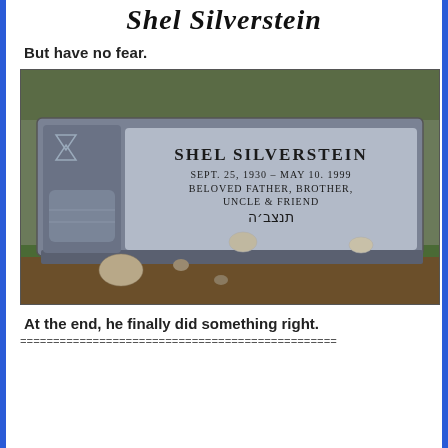Shel Silverstein
But have no fear.
[Figure (photo): Photograph of Shel Silverstein's gravestone. The gray granite stone reads: SHEL SILVERSTEIN / SEPT. 25, 1930 – MAY 10. 1999 / BELOVED FATHER, BROTHER, / UNCLE & FRIEND / תנצב'ה (Hebrew inscription). A carved open book and Star of David decorations appear on the left side. Small stones are placed on and near the grave.]
At the end, he finally did something right.
================================================